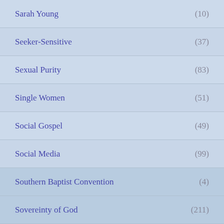Sarah Young (10)
Seeker-Sensitive (37)
Sexual Purity (83)
Single Women (51)
Social Gospel (49)
Social Media (99)
Southern Baptist Convention (4)
Sovereinty of God (211)
Spiritual Warfare (50)
Suffering (25)